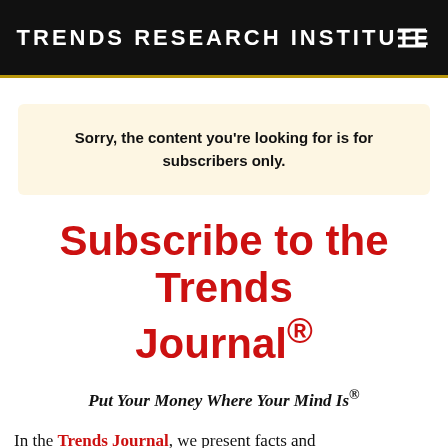Trends Research Institute
Sorry, the content you’re looking for is for subscribers only.
Subscribe to the Trends Journal®
Put Your Money Where Your Mind Is®
In the Trends Journal, we present facts and